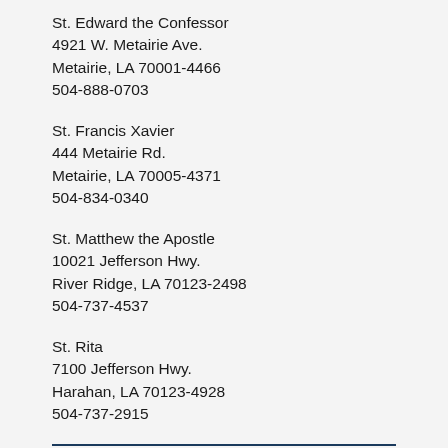St. Edward the Confessor
4921 W. Metairie Ave.
Metairie, LA 70001-4466
504-888-0703
St. Francis Xavier
444 Metairie Rd.
Metairie, LA 70005-4371
504-834-0340
St. Matthew the Apostle
10021 Jefferson Hwy.
River Ridge, LA 70123-2498
504-737-4537
St. Rita
7100 Jefferson Hwy.
Harahan, LA 70123-4928
504-737-2915
Washington/St. Tammany District